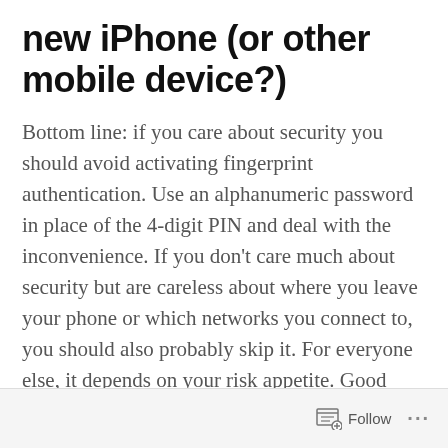new iPhone (or other mobile device?)
Bottom line: if you care about security you should avoid activating fingerprint authentication. Use an alphanumeric password in place of the 4-digit PIN and deal with the inconvenience. If you don't care much about security but are careless about where you leave your phone or which networks you connect to, you should also probably skip it. For everyone else, it depends on your risk appetite. Good luck.
Follow ...